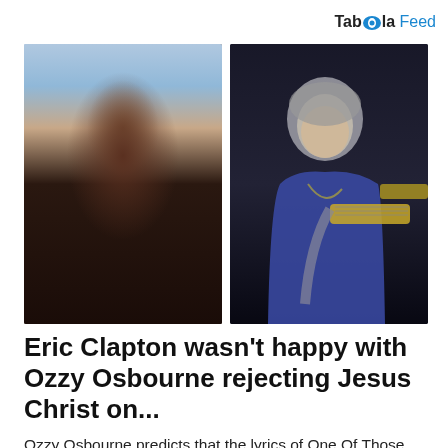Taboola Feed
[Figure (photo): Two side-by-side photos: left shows Ozzy Osbourne performing on stage in dark clothing with long hair; right shows Eric Clapton playing guitar wearing a blue suit]
Eric Clapton wasn't happy with Ozzy Osbourne rejecting Jesus Christ on...
Ozzy Osbourne predicts that the lyrics of One Of Those Days, his collaboration with Eric Clapton, will "cause shit"
Louder